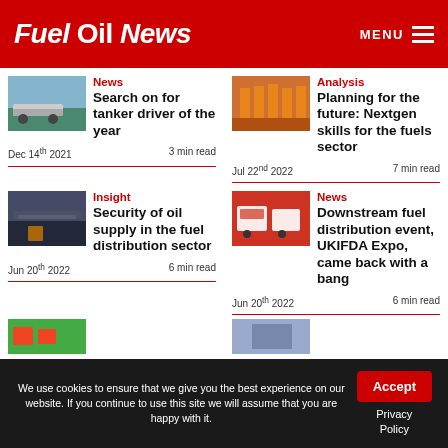Fuel Oil News — MENU
[Figure (photo): Tanker truck on road in countryside]
News
Search on for tanker driver of the year
Dec 14th 2021    3 min read
[Figure (photo): Group of workers in orange high-vis suits]
Analysis
Planning for the future: Nextgen skills for the fuels sector
Jul 22nd 2022    7 min read
[Figure (photo): Oil pipeline or storage facility at dusk]
Insight
Security of oil supply in the fuel distribution sector
Jun 20th 2022    6 min read
[Figure (photo): Fuel distribution vehicles at expo]
News
Downstream fuel distribution event, UKIFDA Expo, came back with a bang
Jun 20th 2022    6 min read
We use cookies to ensure that we give you the best experience on our website. If you continue to use this site we will assume that you are happy with it.